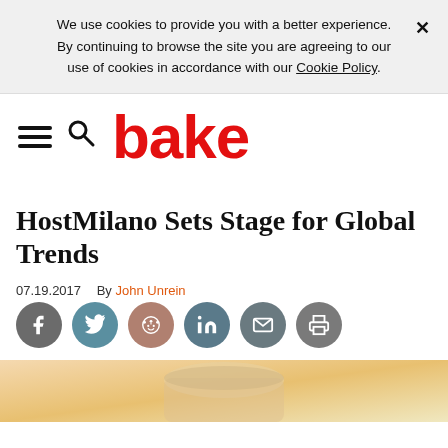We use cookies to provide you with a better experience. × By continuing to browse the site you are agreeing to our use of cookies in accordance with our Cookie Policy.
bake
HostMilano Sets Stage for Global Trends
07.19.2017    By John Unrein
[Figure (infographic): Social sharing buttons row: Facebook, Twitter, Reddit, LinkedIn, Email, Print]
[Figure (photo): Partial photo at bottom of page, appears to show baking or food-related content]